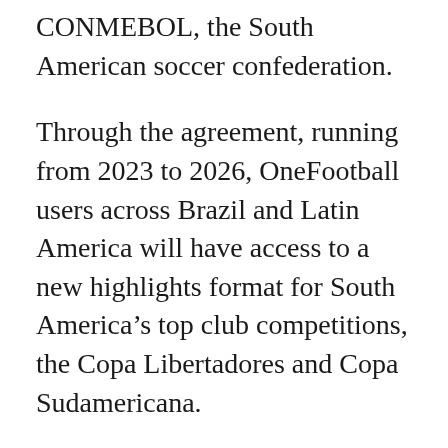CONMEBOL, the South American soccer confederation.
Through the agreement, running from 2023 to 2026, OneFootball users across Brazil and Latin America will have access to a new highlights format for South America's top club competitions, the Copa Libertadores and Copa Sudamericana.
Starting from the 2023 season, fans will be able to view near-live highlight clips, from all games, as well as full post-match highlights after the final whistle. All highlights will be free to view.
The deal covers 314 matches per season,